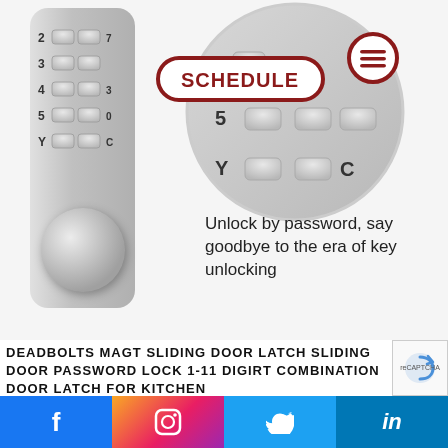[Figure (photo): A silver combination lock with numeric keypad buttons showing rows labeled 2,3,4,5,Y with a circular zoom inset highlighting the 5 and Y rows, a SCHEDULE badge label in red/white, a hamburger menu circle icon in red, and a round silver knob at the bottom of the lock body.]
Unlock by password, say goodbye to the era of key unlocking
DEADBOLTS MAGT SLIDING DOOR LATCH SLIDING DOOR PASSWORD LOCK 1-11 DIGIRT COMBINATION DOOR LATCH FOR KITCHEN